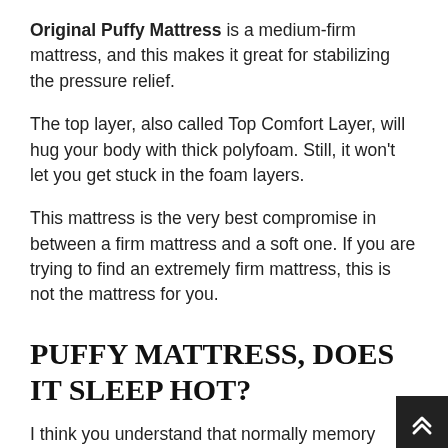Original Puffy Mattress is a medium-firm mattress, and this makes it great for stabilizing the pressure relief.
The top layer, also called Top Comfort Layer, will hug your body with thick polyfoam. Still, it won't let you get stuck in the foam layers.
This mattress is the very best compromise in between a firm mattress and a soft one. If you are trying to find an extremely firm mattress, this is not the mattress for you.
PUFFY MATTRESS, DOES IT SLEEP HOT?
I think you understand that normally memory foam mattresses sleep hot when you compare them to